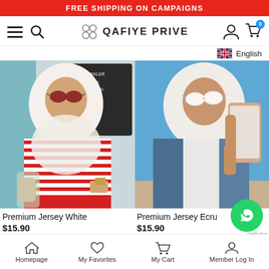FREE SHIPPING ON CAMPAIGNS
[Figure (screenshot): Navigation bar with hamburger menu, search icon, Qafiye Prive logo, user account icon, and shopping cart with badge showing 0]
[Figure (screenshot): UK flag icon with 'English' language selector]
[Figure (photo): Woman wearing white hijab and red striped shirt, holding a glass of lemonade, sitting outdoors at a cafe]
[Figure (photo): Woman wearing white hijab and denim jacket, taking a mirror selfie with a smartphone in natural blue sky background]
Premium Jersey White
$15.90
Premium Jersey Ecru
$15.90
Homepage  My Favorites  My Cart  Member Log In